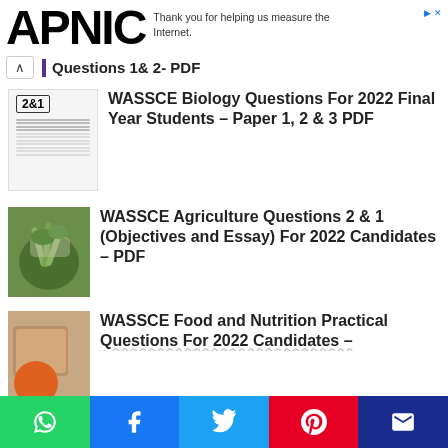[Figure (logo): APNIC logo in large bold black text]
Thank you for helping us measure the Internet.
Questions 1& 2- PDF
[Figure (photo): Document thumbnail showing 2&1 badge]
WASSCE Biology Questions For 2022 Final Year Students – Paper 1, 2 & 3 PDF
[Figure (photo): Hands holding green leafy plants, agriculture theme]
WASSCE Agriculture Questions 2 & 1 (Objectives and Essay) For 2022 Candidates – PDF
[Figure (photo): Food and nutrition image with orange circle]
WASSCE Food and Nutrition Practical Questions For 2022 Candidates –